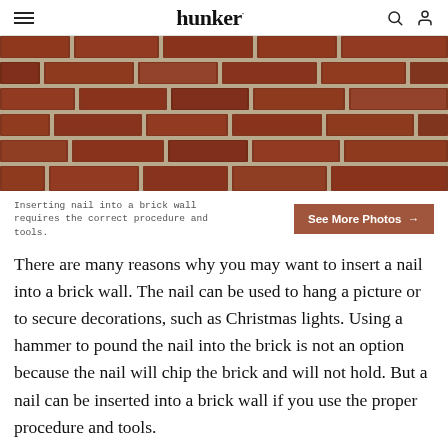hunker
[Figure (photo): Close-up photo of a red brick wall with white mortar, showing the texture and pattern of the bricks.]
Inserting nail into a brick wall requires the correct procedure and tools.
There are many reasons why you may want to insert a nail into a brick wall. The nail can be used to hang a picture or to secure decorations, such as Christmas lights. Using a hammer to pound the nail into the brick is not an option because the nail will chip the brick and will not hold. But a nail can be inserted into a brick wall if you use the proper procedure and tools.